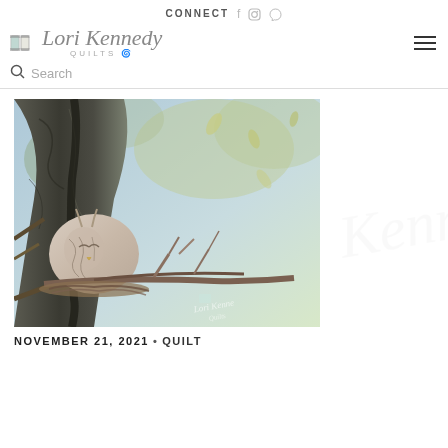CONNECT  f  ○  ℗
[Figure (logo): Lori Kennedy Quilts logo with thread spool icon and script text]
Search
[Figure (photo): An owl nestled on a branch nest against a tree trunk with peeling bark, photographed in a natural outdoor setting with blurred background foliage. Watermark reads Lori Kennedy Quilts.]
NOVEMBER 21, 2021 • QUILT